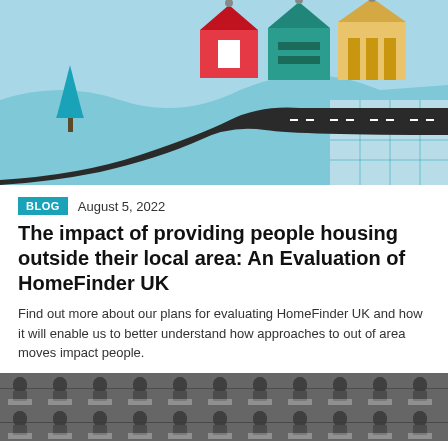[Figure (illustration): Colourful illustration of houses (red, teal, yellow) on a winding road with a tree and grid pattern in the background against a light blue sky]
BLOG  August 5, 2022
The impact of providing people housing outside their local area: An Evaluation of HomeFinder UK
Find out more about our plans for evaluating HomeFinder UK and how it will enable us to better understand how approaches to out of area moves impact people.
[Figure (photo): Black and white photo of many people sitting at desks, appearing to be filling out paperwork or forms]